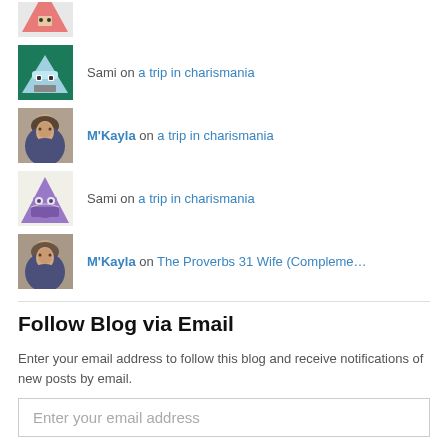Sami on a trip in charismania
M'Kayla on a trip in charismania
Sami on a trip in charismania
M'Kayla on The Proverbs 31 Wife (Compleme…
Follow Blog via Email
Enter your email address to follow this blog and receive notifications of new posts by email.